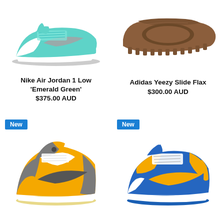[Figure (photo): Nike Air Jordan 1 Low Emerald Green sneaker, teal/white/grey colorway, side profile view]
[Figure (photo): Adidas Yeezy Slide Flax, brown slide sandal, side/top view]
Nike Air Jordan 1 Low 'Emerald Green'
$375.00 AUD
Adidas Yeezy Slide Flax
$300.00 AUD
New
[Figure (photo): Nike Air Jordan 1 High yellow/grey/white sneaker, side profile view]
New
[Figure (photo): Nike Dunk Low blue/yellow sneaker (UCLA colorway), side profile view]